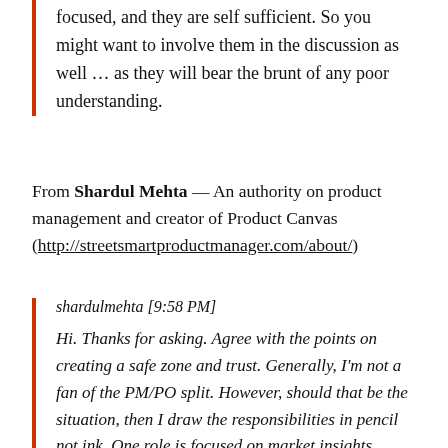focused, and they are self sufficient. So you might want to involve them in the discussion as well … as they will bear the brunt of any poor understanding.
From Shardul Mehta — An authority on product management and creator of Product Canvas (http://streetsmartproductmanager.com/about/)
shardulmehta [9:58 PM]
Hi. Thanks for asking. Agree with the points on creating a safe zone and trust. Generally, I'm not a fan of the PM/PO split. However, should that be the situation, then I draw the responsibilities in pencil not ink. One role is focused on market insights, strategic roadmap, driving long-term growth. The other is in the trenches working with engineering on the next release. Their coordination is super important and I make that crystal